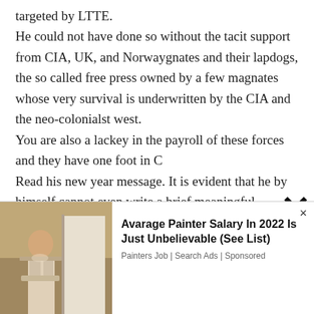targeted by LTTE.
He could not have done so without the tacit support from CIA, UK, and Norwaygnates and their lapdogs, the so called free press owned by a few magnates whose very survival is underwritten by the CIA and the neo-colonialst west.
You are also a lackey in the payroll of these forces and they have one foot in C
Read his new year message. It is evident that he by himself cannot even write a brief,meaningful communique in English.
The press barons, the UNP controlled one
[Figure (photo): Advertisement showing a person painting a wall, with text 'Avarage Painter Salary In 2022 Is Just Unbelievable (See List)' and attribution 'Painters Job | Search Ads | Sponsored']